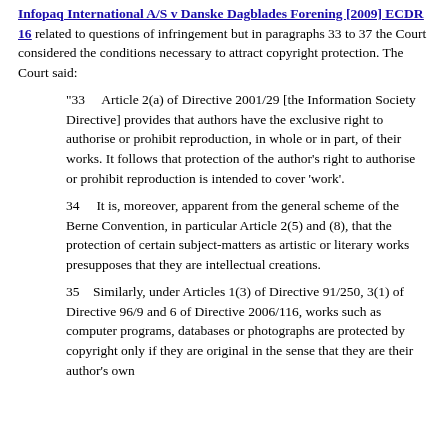Infopaq International A/S v Danske Dagblades Forening [2009] ECDR 16 related to questions of infringement but in paragraphs 33 to 37 the Court considered the conditions necessary to attract copyright protection. The Court said:
"33     Article 2(a) of Directive 2001/29 [the Information Society Directive] provides that authors have the exclusive right to authorise or prohibit reproduction, in whole or in part, of their works. It follows that protection of the author's right to authorise or prohibit reproduction is intended to cover 'work'.
34      It is, moreover, apparent from the general scheme of the Berne Convention, in particular Article 2(5) and (8), that the protection of certain subject-matters as artistic or literary works presupposes that they are intellectual creations.
35      Similarly, under Articles 1(3) of Directive 91/250, 3(1) of Directive 96/9 and 6 of Directive 2006/116, works such as computer programs, databases or photographs are protected by copyright only if they are original in the sense that they are their author's own